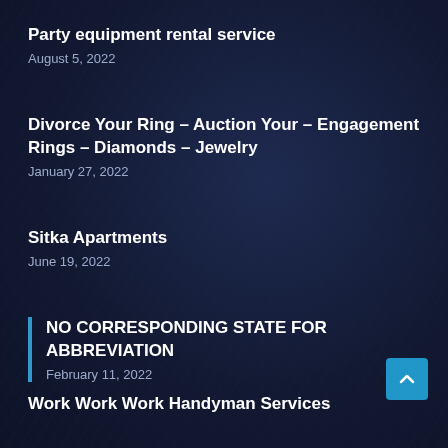Party equipment rental service
August 5, 2022
Divorce Your Ring – Auction Your – Engagement Rings – Diamonds – Jewelry
January 27, 2022
Sitka Apartments
June 19, 2022
NO CORRESPONDING STATE FOR ABBREVIATION
February 11, 2022
Work Work Work Handyman Services